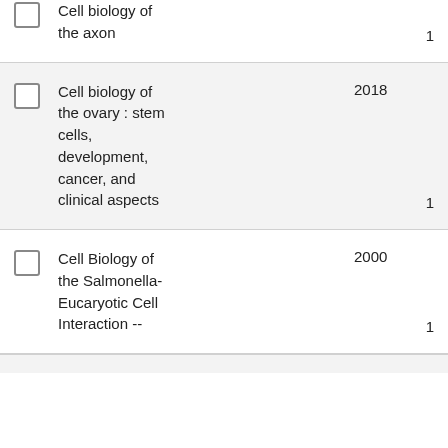Cell biology of the axon — 1
Cell biology of the ovary : stem cells, development, cancer, and clinical aspects — 2018 — 1
Cell Biology of the Salmonella-Eucaryotic Cell Interaction -- — 2000 — 1